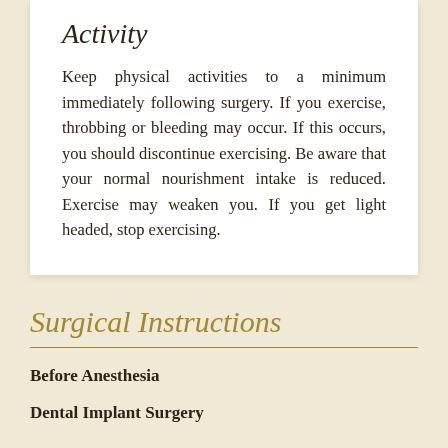Activity
Keep physical activities to a minimum immediately following surgery. If you exercise, throbbing or bleeding may occur. If this occurs, you should discontinue exercising. Be aware that your normal nourishment intake is reduced. Exercise may weaken you. If you get light headed, stop exercising.
Surgical Instructions
Before Anesthesia
Dental Implant Surgery